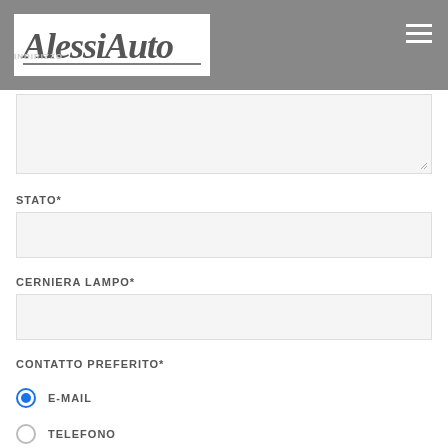[Figure (logo): Alessi Auto logo in italic script font on white background]
INDIRIZZO
STATO*
CERNIERA LAMPO*
CONTATTO PREFERITO*
E-MAIL
TELEFONO